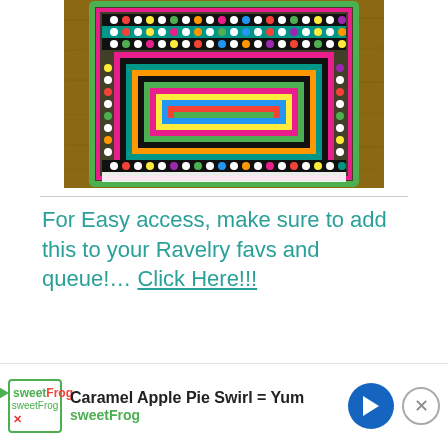[Figure (photo): Colorful crocheted granny square blanket laid on a wooden surface, featuring concentric square pattern with multiple colors including green, pink, black, teal, yellow, orange, white, and purple dots/bobbles.]
For Easy access, make sure to add this to your Ravelry favs and queue!… Click Here!!!
If you missed out on any of the posts or are just joining in, all links are in the Crochet with Me tab at the top of the page.
Th... an
[Figure (other): Advertisement banner for sweetFrog: 'Caramel Apple Pie Swirl = Yum' with sweetFrog logo, navigation arrow diamond icon, and close button.]